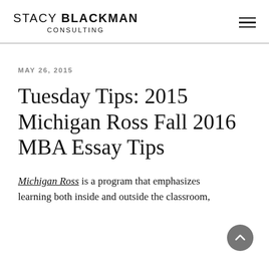STACY BLACKMAN CONSULTING
MAY 26, 2015
Tuesday Tips: 2015 Michigan Ross Fall 2016 MBA Essay Tips
Michigan Ross is a program that emphasizes learning both inside and outside the classroom,